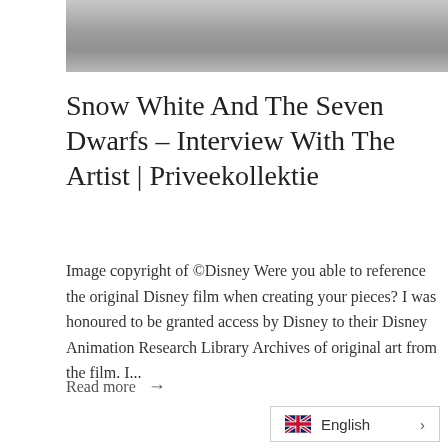[Figure (photo): Partial photo strip at top showing a grey/misty landscape or textured background]
Snow White And The Seven Dwarfs – Interview With The Artist | Priveekollektie
Image copyright of ©Disney Were you able to reference the original Disney film when creating your pieces? I was honoured to be granted access by Disney to their Disney Animation Research Library Archives of original art from the film. I...
Read more →